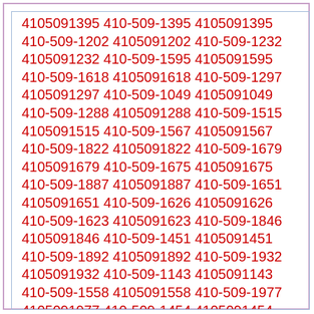4105091395 410-509-1395 4105091395 410-509-1202 4105091202 410-509-1232 4105091232 410-509-1595 4105091595 410-509-1618 4105091618 410-509-1297 4105091297 410-509-1049 4105091049 410-509-1288 4105091288 410-509-1515 4105091515 410-509-1567 4105091567 410-509-1822 4105091822 410-509-1679 4105091679 410-509-1675 4105091675 410-509-1887 4105091887 410-509-1651 4105091651 410-509-1626 4105091626 410-509-1623 4105091623 410-509-1846 4105091846 410-509-1451 4105091451 410-509-1892 4105091892 410-509-1932 4105091932 410-509-1143 4105091143 410-509-1558 4105091558 410-509-1977 4105091977 410-509-1454 4105091454 410-509-1241 4105091241 410-509-1386 4105091386 410-509-1728 4105091728 410-509-1481 4105091481 410-509-1472 4105091472 410-509-1726 4105091726 410-509-1298 4105091298 410-509-1458 4105091458 410-